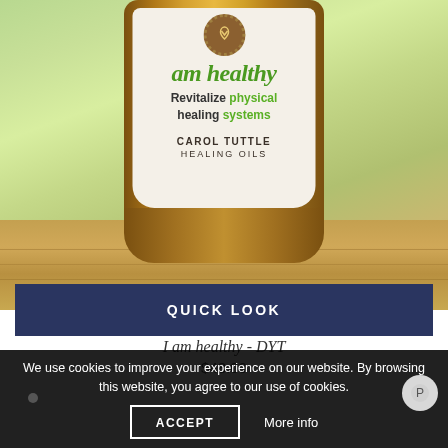[Figure (photo): A bottle of Carol Tuttle Healing Oils 'I am healthy' essential oil with a white label showing green italic text 'am healthy', 'Revitalize physical healing systems', and 'CAROL TUTTLE HEALING OILS'. The amber glass bottle sits on a wooden surface with a blurred green natural background.]
QUICK LOOK
I am healthy - DYT
$48.00
We use cookies to improve your experience on our website. By browsing this website, you agree to our use of cookies.
ACCEPT
More info